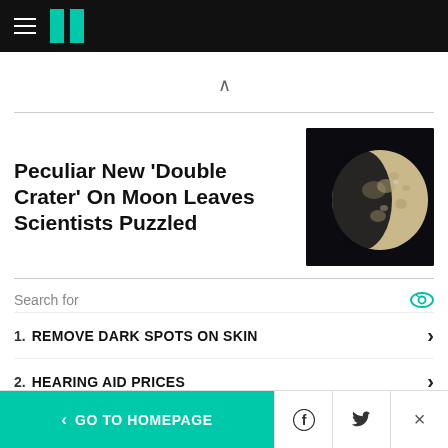HuffPost navigation header
Peculiar New 'Double Crater' On Moon Leaves Scientists Puzzled
[Figure (photo): Photo of the moon showing a gibbous phase against a black background]
Search for
1. REMOVE DARK SPOTS ON SKIN
2. HEARING AID PRICES
< GO TO HOMEPAGE